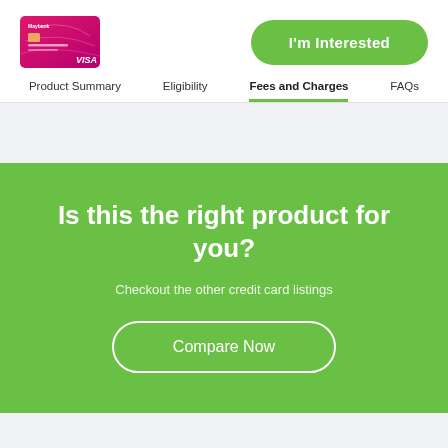[Figure (illustration): Pink/magenta Maybank credit card with VISA logo]
I'm Interested
Product Summary
Eligibility
Fees and Charges
FAQs
Is this the right product for you?
Checkout the other credit card listings
Compare Now